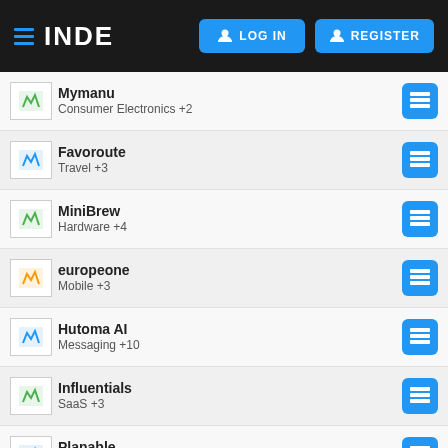INDE — LOG IN — REGISTER
Mymanu — Consumer Electronics +2
Favoroute — Travel +3
MiniBrew — Hardware +4
europeone — Mobile +3
Hutoma AI — Messaging +10
Influentials — SaaS +3
Planable — SaaS +3
Katalysis — Content +3
olibros